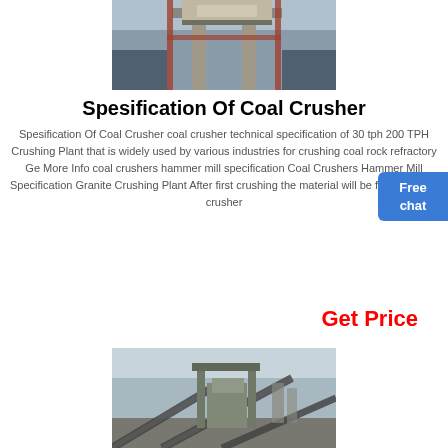[Figure (photo): Industrial crusher/conveyor equipment at a mining or quarrying site, showing structural steel framework and machinery]
Spesification Of Coal Crusher
Spesification Of Coal Crusher coal crusher technical specification of 30 tph 200 TPH Crushing Plant that is widely used by various industries for crushing coal rock refractory Ge More Info coal crushers hammer mill specification Coal Crushers Hammer Mill Specification Granite Crushing Plant After first crushing the material will be fed into cone crusher
Get Price
[Figure (photo): Large open-air crushing plant with conveyor belts and industrial crushing machinery, viewed from the side]